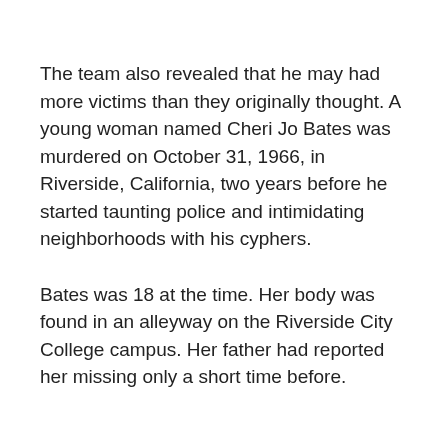The team also revealed that he may had more victims than they originally thought. A young woman named Cheri Jo Bates was murdered on October 31, 1966, in Riverside, California, two years before he started taunting police and intimidating neighborhoods with his cyphers.
Bates was 18 at the time. Her body was found in an alleyway on the Riverside City College campus. Her father had reported her missing only a short time before.